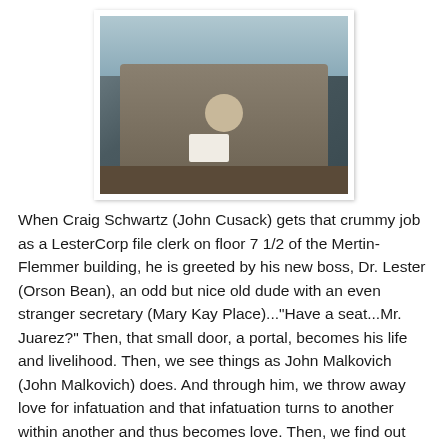[Figure (photo): A man in a gray suit sits at a desk in an office, holding and reading a small piece of paper. There is a window behind him showing trees outside, and a dark wooden office chair and desk are visible.]
When Craig Schwartz (John Cusack) gets that crummy job as a LesterCorp file clerk on floor 7 1/2 of the Mertin-Flemmer building, he is greeted by his new boss, Dr. Lester (Orson Bean), an odd but nice old dude with an even stranger secretary (Mary Kay Place)..."Have a seat...Mr. Juarez?" Then, that small door, a portal, becomes his life and livelihood. Then, we see things as John Malkovich (John Malkovich) does. And through him, we throw away love for infatuation and that infatuation turns to another within another and thus becomes love. Then, we find out why this is even a thing. All of this mind-bending brilliance for the sake of one man's quest to live forever. And he's not even a principle character and immortality is just another of an